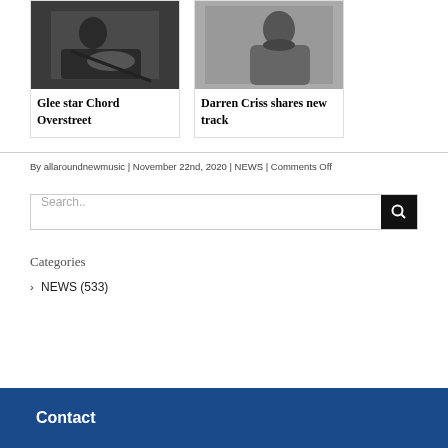[Figure (photo): Black and white photo of a person playing guitar, seated]
Glee star Chord Overstreet
[Figure (photo): Black and white portrait photo of Darren Criss in profile]
Darren Criss shares new track
By allaroundnewmusic | November 22nd, 2020 | NEWS | Comments Off
Search..
Categories
> NEWS (533)
Contact